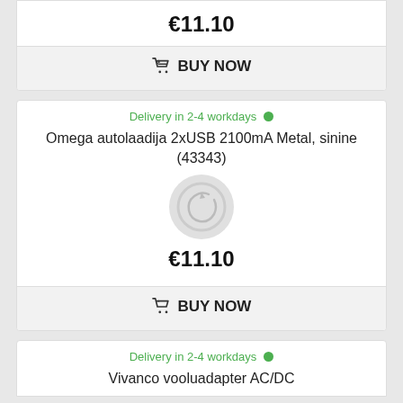€11.10
BUY NOW
Delivery in 2-4 workdays
Omega autolaadija 2xUSB 2100mA Metal, sinine (43343)
[Figure (other): Loading spinner / placeholder image]
€11.10
BUY NOW
Delivery in 2-4 workdays
Vivanco vooluadapter AC/DC